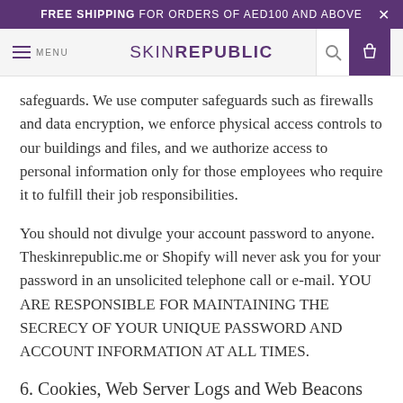FREE SHIPPING FOR ORDERS OF AED100 AND ABOVE
SKIN REPUBLIC MENU
safeguards. We use computer safeguards such as firewalls and data encryption, we enforce physical access controls to our buildings and files, and we authorize access to personal information only for those employees who require it to fulfill their job responsibilities.
You should not divulge your account password to anyone. Theskinrepublic.me or Shopify will never ask you for your password in an unsolicited telephone call or e-mail. YOU ARE RESPONSIBLE FOR MAINTAINING THE SECRECY OF YOUR UNIQUE PASSWORD AND ACCOUNT INFORMATION AT ALL TIMES.
6. Cookies, Web Server Logs and Web Beacons
Cookies are small text files that websites send to your